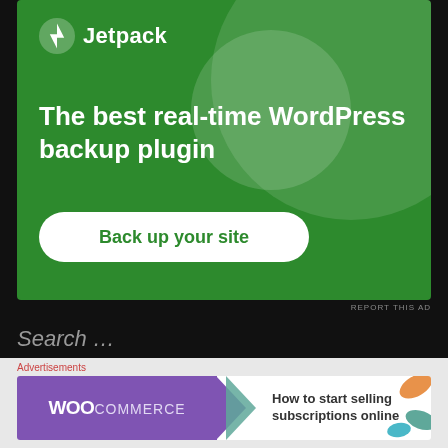[Figure (screenshot): Jetpack advertisement banner on green background. Shows Jetpack logo with lightning bolt icon, headline 'The best real-time WordPress backup plugin', and a white 'Back up your site' button.]
REPORT THIS AD
Search …
Mon–Wed: 7am–9pm
Advertisements
[Figure (screenshot): WooCommerce advertisement. Purple WooCommerce logo on left, text 'How to start selling subscriptions online' on right, decorative leaf shapes in orange and blue/green.]